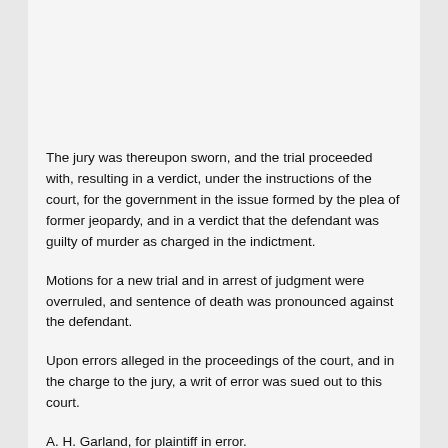The jury was thereupon sworn, and the trial proceeded with, resulting in a verdict, under the instructions of the court, for the government in the issue formed by the plea of former jeopardy, and in a verdict that the defendant was guilty of murder as charged in the indictment.
Motions for a new trial and in arrest of judgment were overruled, and sentence of death was pronounced against the defendant.
Upon errors alleged in the proceedings of the court, and in the charge to the jury, a writ of error was sued out to this court.
A. H. Garland, for plaintiff in error.
Asst. Atty. Gen. Whitney, for the United States.